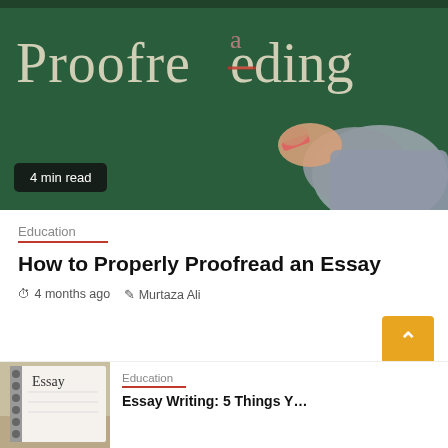[Figure (photo): Chalkboard with 'Proofreading' written in chalk, with 'a' superscript correcting 'Proofre[e]ding'; a hand holding red chalk is writing on the board. A badge reads '4 min read'.]
4 min read
Education
How to Properly Proofread an Essay
4 months ago  Murtaza Ali
[Figure (photo): Notebook with 'Essay' written on the page, spiral binding visible on left.]
Education
Essay Writing: 5 Things Y…